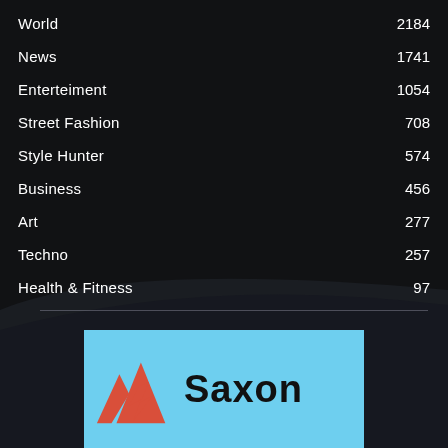World 2184
News 1741
Enterteiment 1054
Street Fashion 708
Style Hunter 574
Business 456
Art 277
Techno 257
Health & Fitness 97
[Figure (logo): Saxon brand logo on light blue background with red mountain/lightning bolt icon and bold black text 'Saxon']